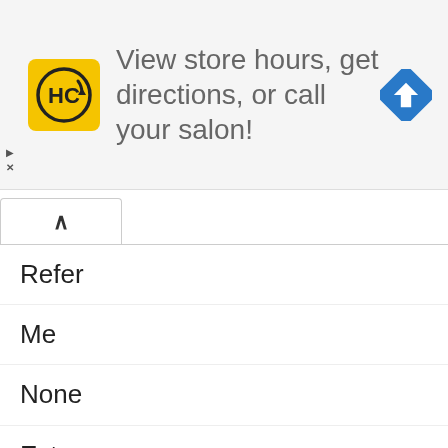[Figure (infographic): Advertisement banner for a hair salon service. Yellow square logo with 'HC' text and circular arrow icon. Text reads 'View store hours, get directions, or call your salon!' with a blue navigation/directions diamond icon on the right.]
Refer
Me
None
Extra
Reality
Army
Otherwise